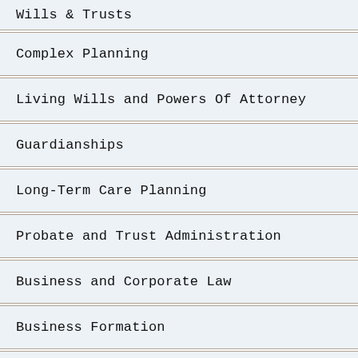Wills & Trusts
Complex Planning
Living Wills and Powers Of Attorney
Guardianships
Long-Term Care Planning
Probate and Trust Administration
Business and Corporate Law
Business Formation
Contracts and Transactions